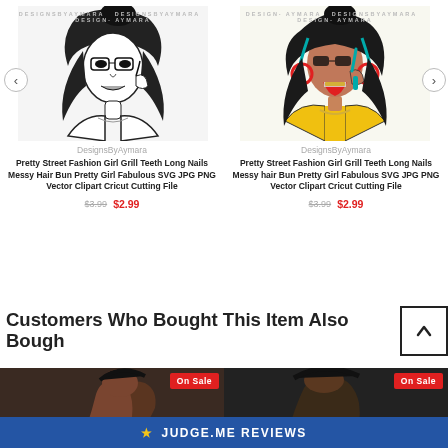[Figure (illustration): Black and white illustration of a street fashion girl with grill teeth, long nails, messy hair bun, with watermark 'DesignsByAymara']
[Figure (illustration): Color illustration of a street fashion girl with grill teeth, long nails, messy hair bun, wearing yellow, with watermark 'DesignsByAymara']
DesignsByAymara
Pretty Street Fashion Girl Grill Teeth Long Nails Messy Hair Bun Pretty Girl Fabulous SVG JPG PNG Vector Clipart Cricut Cutting File
$3.99 $2.99
DesignsByAymara
Pretty Street Fashion Girl Grill Teeth Long Nails Messy hair Bun Pretty Girl Fabulous SVG JPG PNG Vector Clipart Cricut Cutting File
$3.99 $2.99
Customers Who Bought This Item Also Bought
[Figure (illustration): Partial bottom product image with 'On Sale' badge, left side]
[Figure (illustration): Partial bottom product image with 'On Sale' badge, right side]
★ JUDGE.ME REVIEWS